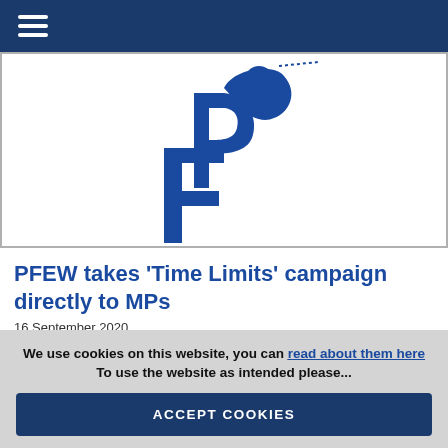Navigation bar with hamburger menu
[Figure (logo): PFEW (Police Federation of England and Wales) logo — large blue stylized PF letters with a figure silhouette]
PFEW takes ‘Time Limits’ campaign directly to MPs
16 September 2020
Fed called to give evidence as IOPC investigated by Home Affairs Select Committee
We use cookies on this website, you can read about them here To use the website as intended please...
ACCEPT COOKIES